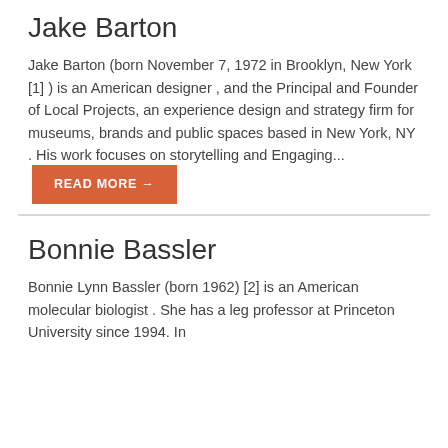Jake Barton
Jake Barton (born November 7, 1972 in Brooklyn, New York [1] ) is an American designer , and the Principal and Founder of Local Projects, an experience design and strategy firm for museums, brands and public spaces based in New York, NY . His work focuses on storytelling and Engaging... READ MORE →
Bonnie Bassler
Bonnie Lynn Bassler (born 1962) [2] is an American molecular biologist . She has a leg professor at Princeton University since 1994. In